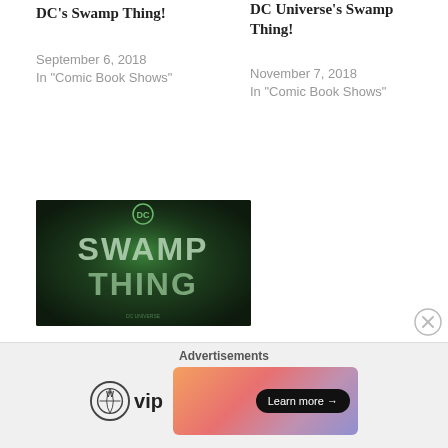DC's Swamp Thing!
September 6, 2018
In "Comic Book Shows"
DC Universe's Swamp Thing!
November 7, 2018
In "Comic Book Shows"
[Figure (photo): DC Swamp Thing promotional image with dark green background and the text SWAMP THING in large letters with DC logo]
DC Universe's Swamp Thing will not Return for a Second Season!
June 7, 2019
In "Comic Book Shows"
Advertisements